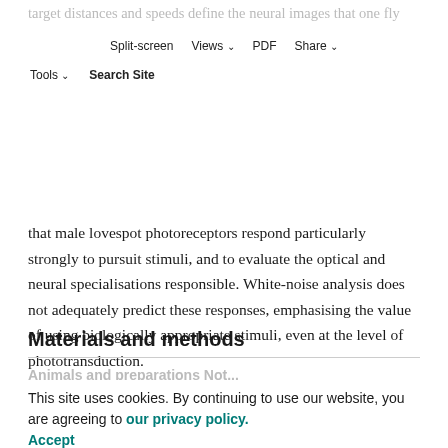target distances and speeds define the neural images that one fly 'sees' as it chases another. We compare the neural images in the male lovespot with those formed in the corresponding frontal region of the female retina to show
Split-screen | Views | PDF | Share | Tools | Search Site
that male lovespot photoreceptors respond particularly strongly to pursuit stimuli, and to evaluate the optical and neural specialisations responsible. White-noise analysis does not adequately predict these responses, emphasising the value of using biologically appropriate stimuli, even at the level of phototransduction.
Materials and methods
Animals and preparations Not...
This site uses cookies. By continuing to use our website, you are agreeing to our privacy policy. Accept
Intracellular microelectrode recordings were made from R1-6 photoreceptors in both sexes of the housefly Musca